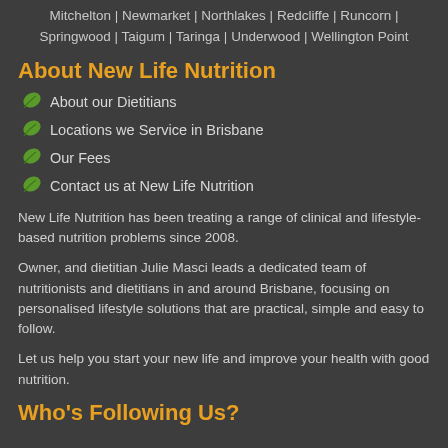Mitchelton | Newmarket | Northlakes | Redcliffe | Runcorn | Springwood | Taigum | Taringa | Underwood | Wellington Point
About New Life Nutrition
About our Dietitians
Locations we Service in Brisbane
Our Fees
Contact us at New Life Nutrition
New Life Nutrition has been treating a range of clinical and lifestyle-based nutrition problems since 2008.
Owner, and dietitian Julie Masci leads a dedicated team of nutritionists and dietitians in and around Brisbane, focusing on personalised lifestyle solutions that are practical, simple and easy to follow.
Let us help you start your new life and improve your health with good nutrition.
Who's Following Us?